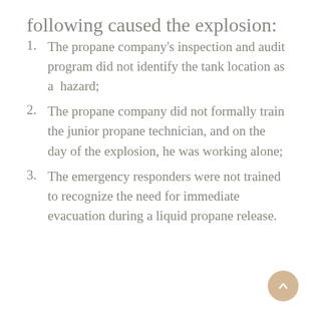following caused the explosion:
1. The propane company's inspection and audit program did not identify the tank location as a hazard;
2. The propane company did not formally train the junior propane technician, and on the day of the explosion, he was working alone;
3. The emergency responders were not trained to recognize the need for immediate evacuation during a liquid propane release.